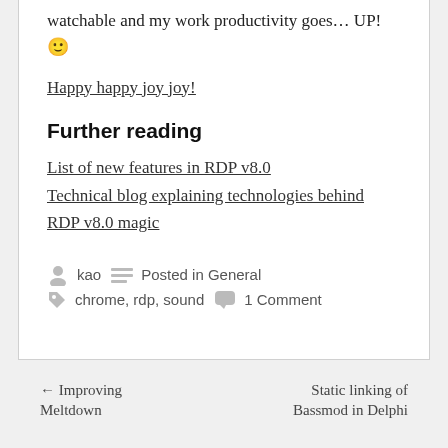watchable and my work productivity goes… UP! 🙂
Happy happy joy joy!
Further reading
List of new features in RDP v8.0
Technical blog explaining technologies behind RDP v8.0 magic
kao   Posted in General   chrome, rdp, sound   1 Comment
← Improving Meltdown    Static linking of Bassmod in Delphi